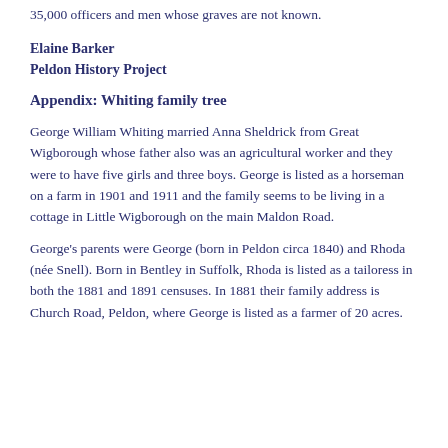35,000 officers and men whose graves are not known.
Elaine Barker
Peldon History Project
Appendix: Whiting family tree
George William Whiting married Anna Sheldrick from Great Wigborough whose father also was an agricultural worker and they were to have five girls and three boys. George is listed as a horseman on a farm in 1901 and 1911 and the family seems to be living in a cottage in Little Wigborough on the main Maldon Road.
George's parents were George (born in Peldon circa 1840) and Rhoda (née Snell). Born in Bentley in Suffolk, Rhoda is listed as a tailoress in both the 1881 and 1891 censuses. In 1881 their family address is Church Road, Peldon, where George is listed as a farmer of 20 acres.